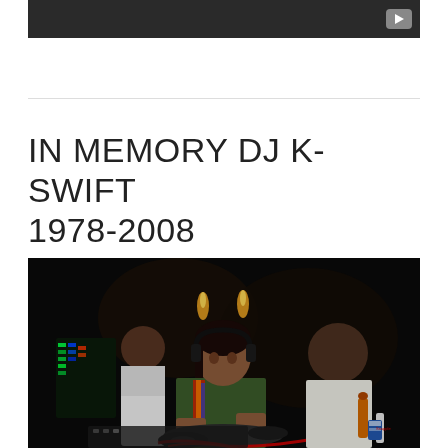[Figure (screenshot): Dark video thumbnail with a YouTube play button icon in the top right corner]
IN MEMORY DJ K-SWIFT 1978-2008
[Figure (photo): A female DJ wearing headphones and a dark green shirt is working at DJ turntables in a dark club setting. Two other people are visible in the background.]